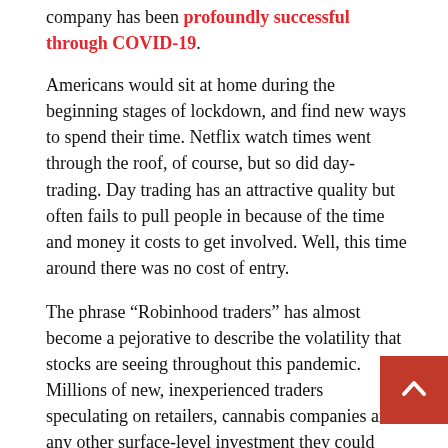company has been profoundly successful through COVID-19.
Americans would sit at home during the beginning stages of lockdown, and find new ways to spend their time. Netflix watch times went through the roof, of course, but so did day-trading. Day trading has an attractive quality but often fails to pull people in because of the time and money it costs to get involved. Well, this time around there was no cost of entry.
The phrase “Robinhood traders” has almost become a pejorative to describe the volatility that stocks are seeing throughout this pandemic. Millions of new, inexperienced traders speculating on retailers, cannabis companies and any other surface-level investment they could find.
Of course, this isn’t to say there’s no responsible and effective use of Robinhood — the app offers commission-free sto... and ETFs. It’s just that it felt, at moments, like watching market behaviour that’s made up of Twitter users.